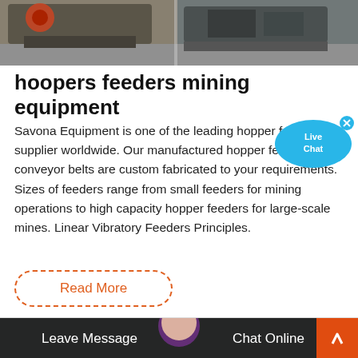[Figure (photo): Industrial mining equipment / hopper feeders photographed in a warehouse or factory setting]
hoopers feeders mining equipment
Savona Equipment is one of the leading hopper feeders supplier worldwide. Our manufactured hopper feeders with conveyor belts are custom fabricated to your requirements. Sizes of feeders range from small feeders for mining operations to high capacity hopper feeders for large-scale mines. Linear Vibratory Feeders Principles.
[Figure (illustration): Read More button with dashed orange border]
[Figure (photo): Bottom section with dark bar showing Leave Message and Chat Online options, with customer service avatar]
[Figure (illustration): Live Chat speech bubble overlay in top right]